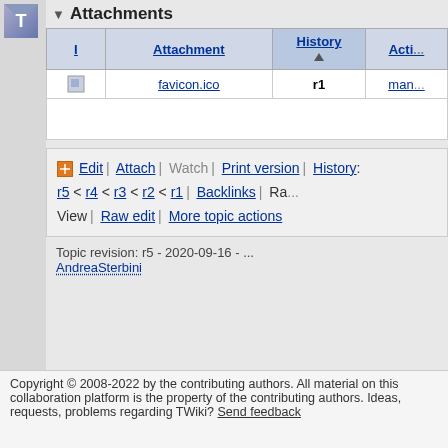[Figure (logo): T icon/logo badge in top left corner]
Attachments
| I | Attachment | History | Acti... |
| --- | --- | --- | --- |
| [icon] | favicon.ico | r1 | man... |
Edit | Attach | Watch | Print version | History: r5 < r4 < r3 < r2 < r1 | Backlinks | Raw View | Raw edit | More topic actions
Topic revision: r5 - 2020-09-16 - ... AndreaSterbini
Copyright © 2008-2022 by the contributing authors. All material on this collaboration platform is the property of the contributing authors. Ideas, requests, problems regarding TWiki? Send feedback